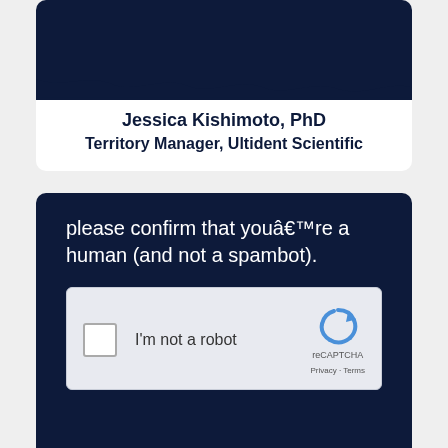[Figure (screenshot): Dark navy card top section with wavy bottom edge, partially cropped at top]
Jessica Kishimoto, PhD
Territory Manager, Ultident Scientific
[Figure (screenshot): Dark navy card with reCAPTCHA widget overlay: text reads 'please confirm that youâ€™re a human (and not a spambot).' with a checkbox widget saying 'I'm not a robot' and reCAPTCHA logo, Privacy and Terms links, wavy bottom edge]
Regina Gonda, PhD